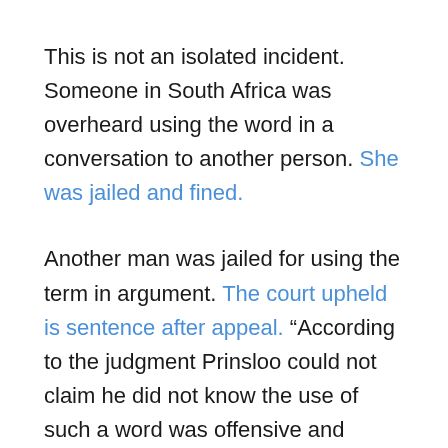This is not an isolated incident. Someone in South Africa was overheard using the word in a conversation to another person. She was jailed and fined.
Another man was jailed for using the term in argument. The court upheld is sentence after appeal. “According to the judgment Prinsloo could not claim he did not know the use of such a word was offensive and injurious to the complainants.” [source] Even if you plead ignorance to the term’s offensive history, it should be clear— this is serious business in